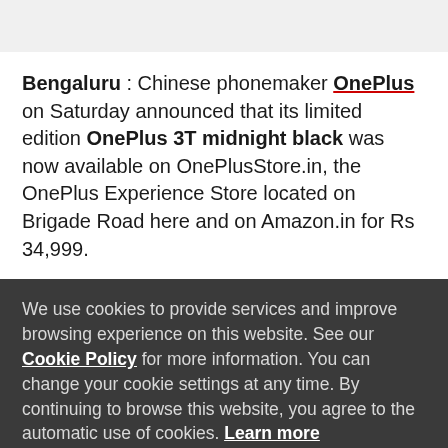Bengaluru : Chinese phonemaker OnePlus on Saturday announced that its limited edition OnePlus 3T midnight black was now available on OnePlusStore.in, the OnePlus Experience Store located on Brigade Road here and on Amazon.in for Rs 34,999.
We use cookies to provide services and improve browsing experience on this website. See our Cookie Policy for more information. You can change your cookie settings at any time. By continuing to browse this website, you agree to the automatic use of cookies. Learn more
We use marketing cookies to help us improve the relevancy of advertising campaigns you receive.